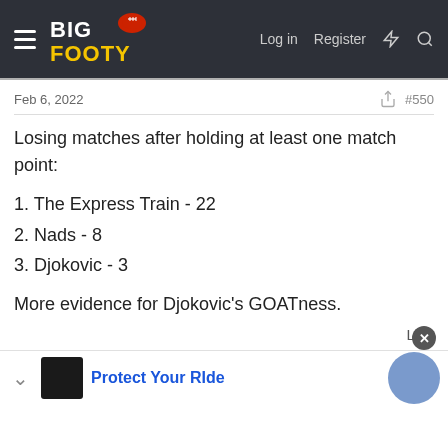BigFooty — Log in  Register
Feb 6, 2022   #550
Losing matches after holding at least one match point:
1. The Express Train - 22
2. Nads - 8
3. Djokovic - 3
More evidence for Djokovic's GOATness.
Like
Dominic03